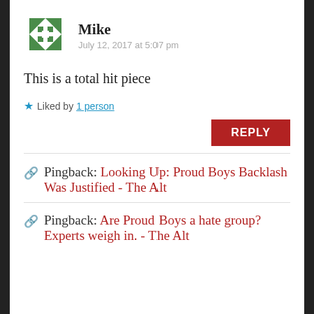[Figure (illustration): Green geometric star/pinwheel avatar icon for user Mike]
Mike
July 12, 2017 at 5:07 pm
This is a total hit piece
★ Liked by 1 person
REPLY
Pingback: Looking Up: Proud Boys Backlash Was Justified - The Alt
Pingback: Are Proud Boys a hate group? Experts weigh in. - The Alt